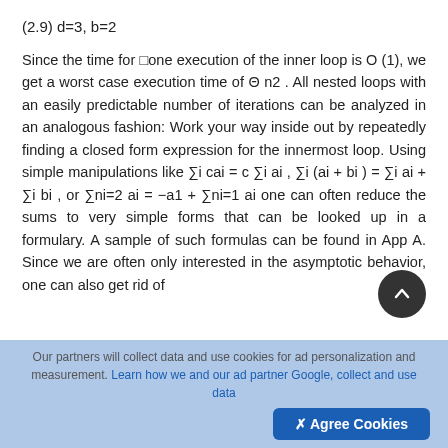Since the time for □one execution of the inner loop is O (1), we get a worst case execution time of Θ n2 . All nested loops with an easily predictable number of iterations can be analyzed in an analogous fashion: Work your way inside out by repeatedly finding a closed form expression for the innermost loop. Using simple manipulations like ∑i cai = c ∑i ai , ∑i (ai + bi ) = ∑i ai + ∑i bi , or ∑ni=2 ai = −a1 + ∑ni=1 ai one can often reduce the sums to very simple forms that can be looked up in a formulary. A sample of such formulas can be found in App A. Since we are often only interested in the asymptotic behavior, one can also get rid of
Our partners will collect data and use cookies for ad personalization and measurement. Learn how we and our ad partner Google, collect and use data